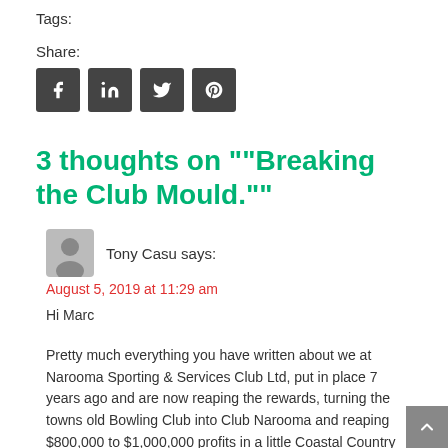Tags:
Share:
[Figure (other): Social sharing icons: Facebook, LinkedIn, Twitter, Pinterest]
3 thoughts on ""Breaking the Club Mould.""
[Figure (other): User avatar icon (grey silhouette)]
Tony Casu says:
August 5, 2019 at 11:29 am
Hi Marc
Pretty much everything you have written about we at Narooma Sporting & Services Club Ltd, put in place 7 years ago and are now reaping the rewards, turning the towns old Bowling Club into Club Narooma and reaping $800,000 to $1,000,000 profits in a little Coastal Country